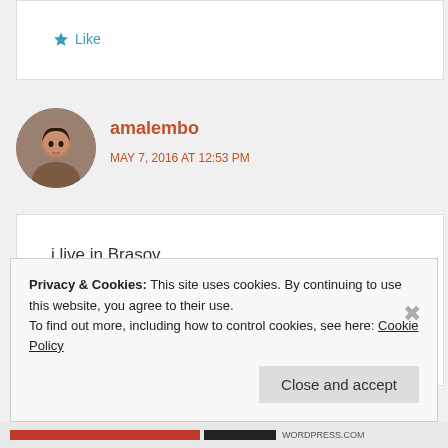[Figure (screenshot): Partial comment box with a Like button at the top of the page]
[Figure (photo): Round avatar photo of user amalembo, a woman with dark hair]
amalembo
MAY 7, 2016 AT 12:53 PM
i live in Brasov
Like
Privacy & Cookies: This site uses cookies. By continuing to use this website, you agree to their use.
To find out more, including how to control cookies, see here: Cookie Policy
Close and accept